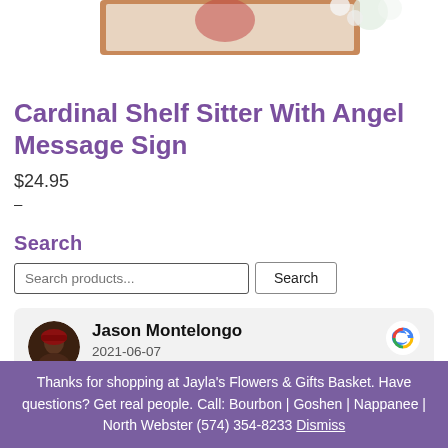[Figure (photo): Top portion of a product image showing a framed Cardinal Shelf Sitter with Angel Message Sign, wood frame with floral decoration visible at top]
Cardinal Shelf Sitter With Angel Message Sign
$24.95
-
Search
Search products...  Search
[Figure (photo): Google review card showing reviewer Jason Montelongo with avatar photo, date 2021-06-07, and Google G logo]
Thanks for shopping at Jayla's Flowers & Gifts Basket. Have questions? Get real people. Call: Bourbon | Goshen | Nappanee | North Webster (574) 354-8233 Dismiss